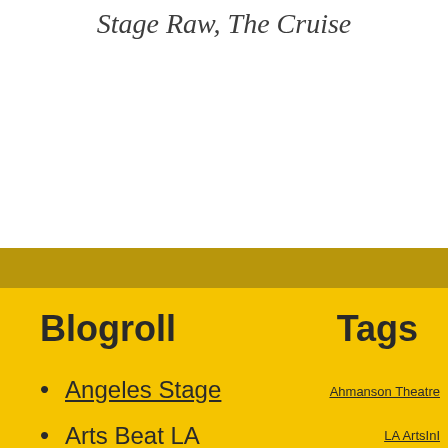Stage Raw, The Cruise
Blogroll
Tags
Angeles Stage
Arts Beat LA
Ahmanson Theatre
LA ArtsInI